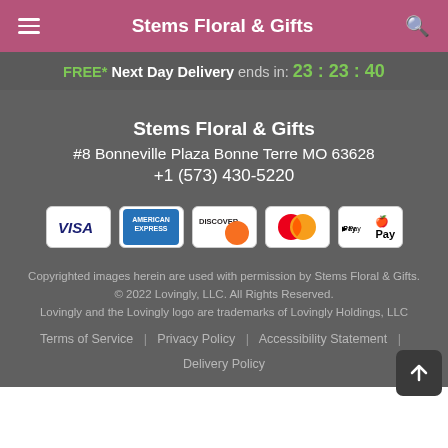Stems Floral & Gifts
FREE* Next Day Delivery ends in: 23:23:40
Stems Floral & Gifts
#8 Bonneville Plaza Bonne Terre MO 63628
+1 (573) 430-5220
[Figure (other): Payment method icons: VISA, American Express, Discover, Mastercard, Apple Pay]
Copyrighted images herein are used with permission by Stems Floral & Gifts.
© 2022 Lovingly, LLC. All Rights Reserved.
Lovingly and the Lovingly logo are trademarks of Lovingly Holdings, LLC
Terms of Service | Privacy Policy | Accessibility Statement | Delivery Policy